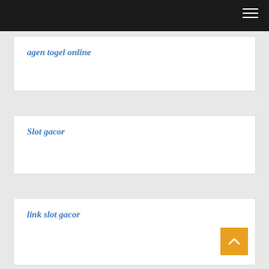agen togel online
Slot gacor
link slot gacor